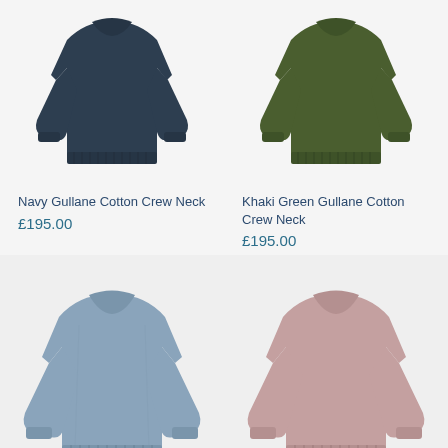[Figure (photo): Navy crew neck cotton sweater on white/light grey background]
Navy Gullane Cotton Crew Neck
£195.00
[Figure (photo): Khaki green crew neck cotton sweater on white/light grey background]
Khaki Green Gullane Cotton Crew Neck
£195.00
[Figure (photo): Light blue/grey crew neck knit sweater on light grey background]
[Figure (photo): Pink/mauve crew neck knit sweater on light grey background]